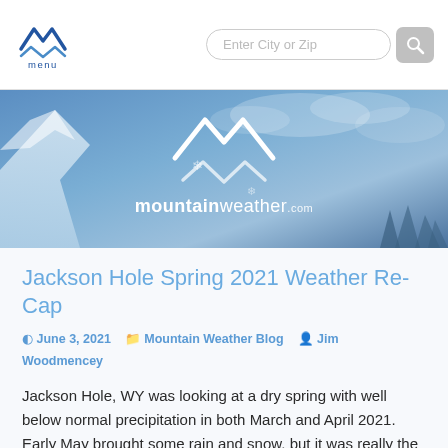mountainweather.com — navigation bar with menu logo and search field
[Figure (illustration): Mountain weather website hero banner with snowy mountain background and mountainweather.com logo in white]
Jackson Hole Spring 2021 Weather Re-Cap
June 3, 2021   Mountain Weather Blog   Jim Woodmencey
Jackson Hole, WY was looking at a dry spring with well below normal precipitation in both March and April 2021. Early May brought some rain and snow, but it was really the 8-day period between May 18th and 26th that saved the day. May ended up well